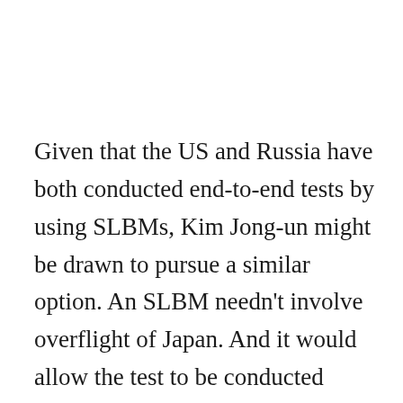Given that the US and Russia have both conducted end-to-end tests by using SLBMs, Kim Jong-un might be drawn to pursue a similar option. An SLBM needn't involve overflight of Japan. And it would allow the test to be conducted remote from major urban areas. But that assumes, of course, that Kim has a working SLBM, not to mention a submarine capable of launching it—which he probably doesn't at this point in time. What Kim has is an under-tested